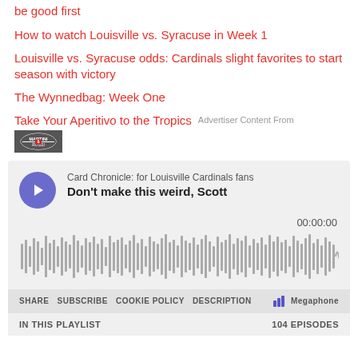be good first
How to watch Louisville vs. Syracuse in Week 1
Louisville vs. Syracuse odds: Cardinals slight favorites to start season with victory
The Wynnedbag: Week One
Take Your Aperitivo to the Tropics  Advertiser Content From
[Figure (screenshot): Martini & Rossi logo image]
[Figure (screenshot): Podcast player embed: Card Chronicle: for Louisville Cardinals fans — Don't make this weird, Scott. Shows play button, waveform, time 00:00:00, SHARE SUBSCRIBE COOKIE POLICY DESCRIPTION controls, and Megaphone branding. IN THIS PLAYLIST — 104 EPISODES.]